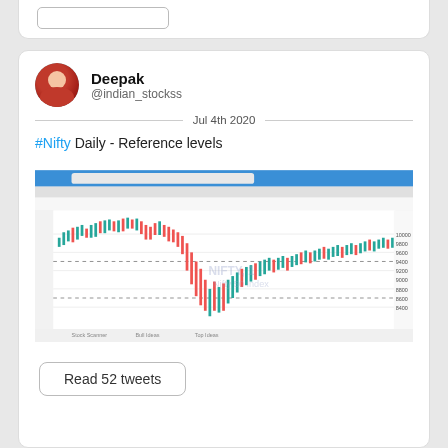Deepak
@indian_stockss
Jul 4th 2020
#Nifty Daily - Reference levels
[Figure (screenshot): TradingView screenshot showing Nifty 50 Index daily candlestick chart with reference level dashed lines. The chart shows a large drop and recovery pattern, with 'NIFTY, 1D' and 'Nifty 50 Index' watermark visible.]
Read 52 tweets